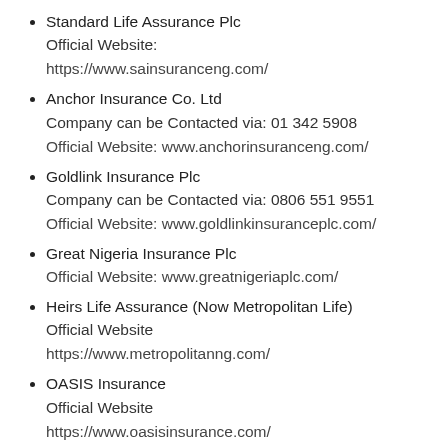Standard Life Assurance Plc
Official Website:
https://www.sainsuranceng.com/
Anchor Insurance Co. Ltd
Company can be Contacted via: 01 342 5908
Official Website: www.anchorinsuranceng.com/
Goldlink Insurance Plc
Company can be Contacted via: 0806 551 9551
Official Website: www.goldlinkinsuranceplc.com/
Great Nigeria Insurance Plc
Official Website: www.greatnigeriaplc.com/
Heirs Life Assurance (Now Metropolitan Life)
Official Website
https://www.metropolitanng.com/
OASIS Insurance
Official Website
https://www.oasisinsurance.com/
Sovereign Trust Insurance